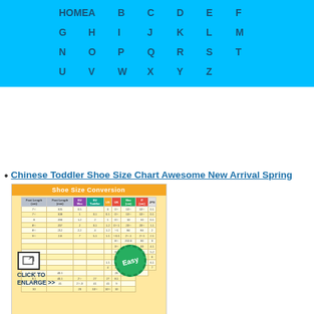HOME A B C D E F G H I J K L M N O P Q R S T U V W X Y Z
Chinese Toddler Shoe Size Chart Awesome New Arrival Spring
[Figure (table-as-image): Shoe Size Conversion chart thumbnail with click to enlarge prompt and Easy stamp]